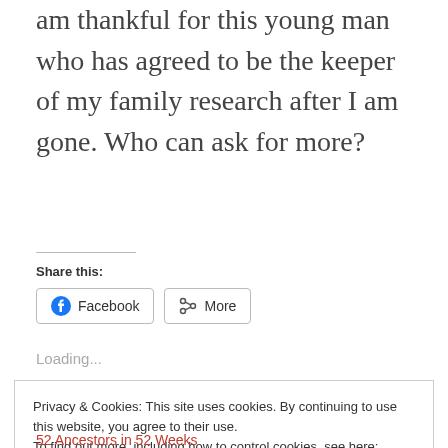am thankful for this young man who has agreed to be the keeper of my family research after I am gone. Who can ask for more?
Share this:
[Figure (other): Facebook and More share buttons]
Loading...
Privacy & Cookies: This site uses cookies. By continuing to use this website, you agree to their use.
To find out more, including how to control cookies, see here: Cookie Policy
Close and accept
52 Ancestors in 52 Weeks